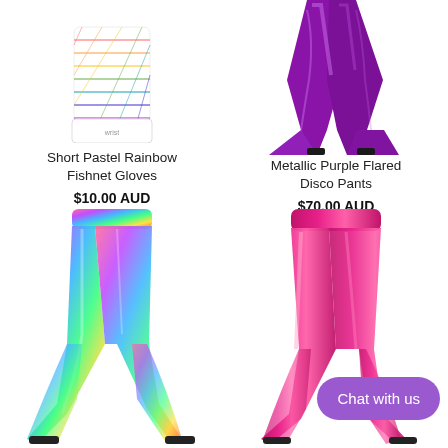[Figure (photo): Short Pastel Rainbow Fishnet Gloves product photo - colorful rainbow fishnet gloves on white background, partially cropped at top]
[Figure (photo): Metallic Purple Flared Disco Pants product photo - shiny metallic purple bell-bottom pants with black heeled shoes, partially cropped at top]
Short Pastel Rainbow Fishnet Gloves
$10.00 AUD
Metallic Purple Flared Disco Pants
$70.00 AUD
[Figure (photo): Holographic rainbow metallic flared disco pants product photo on white background]
[Figure (photo): Metallic hot pink/magenta flared disco pants product photo on white background]
Chat with us